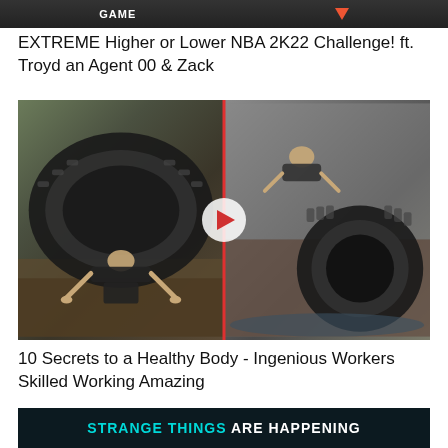[Figure (screenshot): Top thumbnail cropped showing 'GAME' label with red downward arrow on dark background]
EXTREME Higher or Lower NBA 2K22 Challenge! ft. Troyd an Agent 00 & Zack
[Figure (screenshot): Video thumbnail showing woman doing pushup under large tire on left half and woman lifting tire on right half, split by red vertical line with white/red play button in center]
10 Secrets to a Healthy Body - Ingenious Workers Skilled Working Amazing
[Figure (screenshot): Thumbnail with dark background showing 'STRANGE THINGS ARE HAPPENING' text in cyan and white with skeletal figures below]